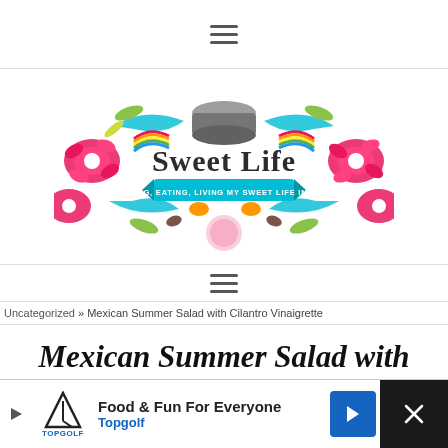Navigation menu icon (hamburger)
[Figure (logo): Sweet Life blog logo — colorful Mexican folk-art floral border with a stone molcajete mortar and pestle in the center, text 'Sweet Life' in serif font, banner reading 'COOKING, EATING, LIVING MY SWEET LIFE IN TEXAS']
[Figure (other): Hamburger/menu icon (three horizontal lines)]
Uncategorized » Mexican Summer Salad with Cilantro Vinaigrette
Mexican Summer Salad with Cilantro Vinaigrette
[Figure (other): Advertisement banner: Topgolf logo with golf flag icon, text 'Food & Fun For Everyone', 'Topgolf', blue navigation arrow icon, close X button on dark background]